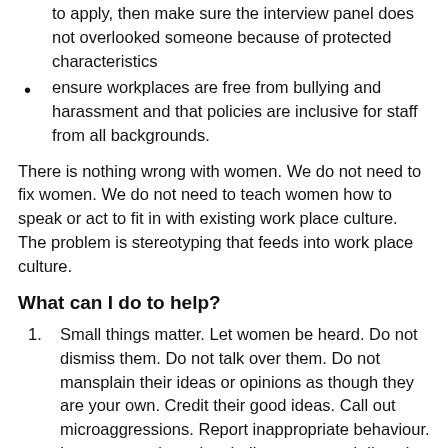to apply, then make sure the interview panel does not overlooked someone because of protected characteristics
ensure workplaces are free from bullying and harassment and that policies are inclusive for staff from all backgrounds.
There is nothing wrong with women. We do not need to fix women. We do not need to teach women how to speak or act to fit in with existing work place culture. The problem is stereotyping that feeds into work place culture.
What can I do to help?
Small things matter. Let women be heard. Do not dismiss them. Do not talk over them. Do not mansplain their ideas or opinions as though they are your own. Credit their good ideas. Call out microaggressions. Report inappropriate behaviour. Learn more about the challenges around diversity in science (e.g. there are many